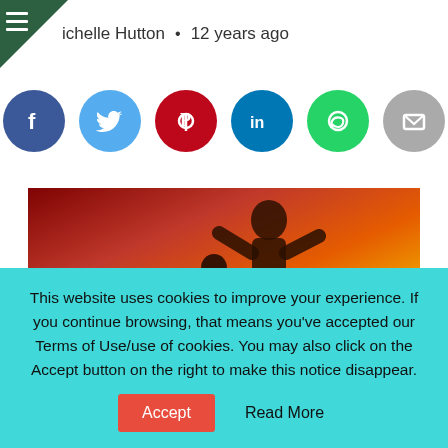Michelle Hutton • 12 years ago
[Figure (infographic): Row of six social media sharing icons: Facebook (blue), Twitter (light blue), Pinterest (dark red), LinkedIn (blue), WhatsApp (green), Email (grey)]
[Figure (photo): Movie poster image showing two figures (adult and child) in martial arts poses against a red and orange fiery background with a Chinese building silhouette — appears to be The Karate Kid (2010)]
This website uses cookies to improve your experience. If you continue browsing, that means you've accepted our Terms of Use/use of cookies. You may also click on the Accept button on the right to make this notice disappear.
Accept
Read More